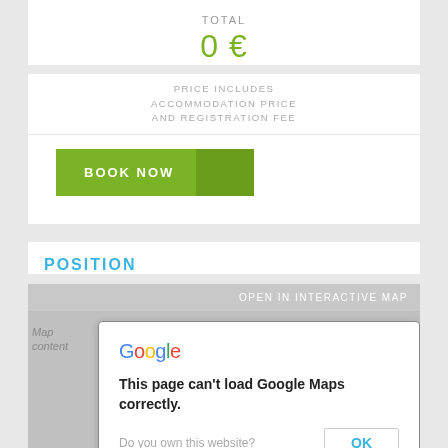TOTAL
0 €
PRICE INCLUDES
ACCOMMODATION PRICE
AND REGISTRATION FEE
BOOK NOW
POSITION
OPEN IN INTERACTIVE MAP
[Figure (screenshot): Google Maps error dialog: 'This page can't load Google Maps correctly.' with Do you own this website? and an OK button.]